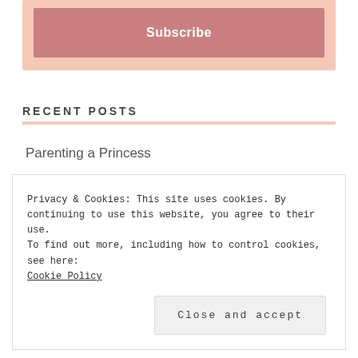[Figure (other): Subscribe button inside a peach/salmon colored box]
RECENT POSTS
Parenting a Princess
Decisions
Privacy & Cookies: This site uses cookies. By continuing to use this website, you agree to their use.
To find out more, including how to control cookies, see here: Cookie Policy
Close and accept